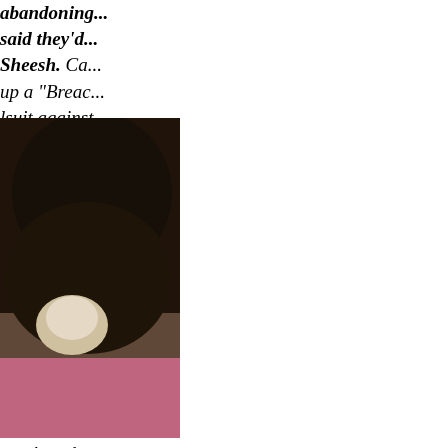abandoning... said they'd... Sheesh. Ca... up a "Breac... lsuit against...
[Figure (photo): A tabby/calico cat resting on a pink cloth or blanket, curled up, viewed from above and slightly to the side.]
Greyhound/... year old, lar... center. He's... at available... "blue/orange... and is availa... Center.]
And, in con...
CONTE...
ASSORTED...
What's the k...